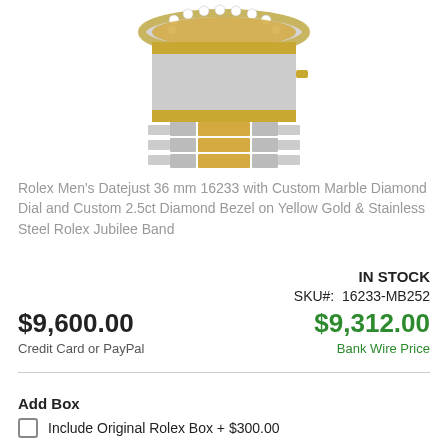[Figure (photo): Partial view of a Rolex watch showing the bezel with diamonds, the crown, and the two-tone yellow gold and stainless steel Jubilee bracelet from top/front angle.]
Rolex Men's Datejust 36 mm 16233 with Custom Marble Diamond Dial and Custom 2.5ct Diamond Bezel on Yellow Gold & Stainless Steel Rolex Jubilee Band
IN STOCK
SKU#:  16233-MB252
$9,600.00
Credit Card or PayPal
$9,312.00
Bank Wire Price
Add Box
Include Original Rolex Box + $300.00